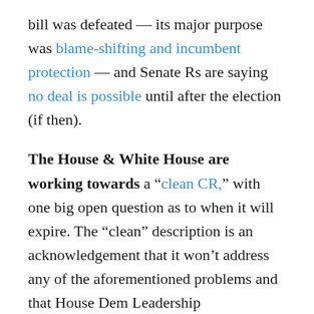bill was defeated — its major purpose was blame-shifting and incumbent protection — and Senate Rs are saying no deal is possible until after the election (if then).
The House & White House are working towards a "clean CR," with one big open question as to when it will expire. The "clean" description is an acknowledgement that it won't address any of the aforementioned problems and that House Dem Leadership miscalculated around the first (and subsequent) COVID-19 relief bills. Should Dems agree to let the CR expire in December, they could be setting up a government shutdown that could last a month or longer, undermining what they hope would be the start of the Biden administration...